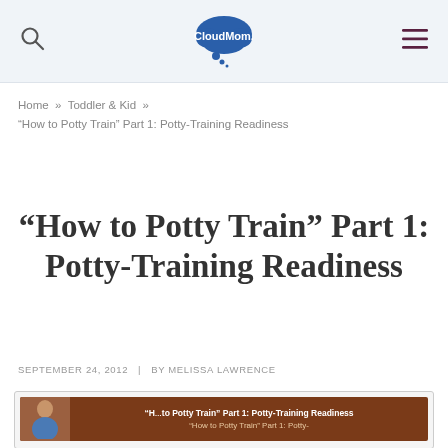CloudMom. [logo with search and menu icons]
Home » Toddler & Kid » “How to Potty Train” Part 1: Potty-Training Readiness
“How to Potty Train” Part 1: Potty-Training Readiness
SEPTEMBER 24, 2012 | BY MELISSA LAWRENCE
[Figure (screenshot): Video thumbnail for “How to Potty Train” Part 1: Potty-Training Readiness showing a woman on a brown background]